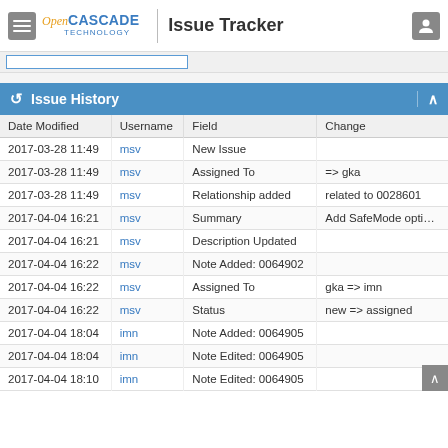Open CASCADE TECHNOLOGY | Issue Tracker
| Date Modified | Username | Field | Change |
| --- | --- | --- | --- |
| 2017-03-28 11:49 | msv | New Issue |  |
| 2017-03-28 11:49 | msv | Assigned To | => gka |
| 2017-03-28 11:49 | msv | Relationship added | related to 0028601 |
| 2017-04-04 16:21 | msv | Summary | Add SafeMode option in Sh |
| 2017-04-04 16:21 | msv | Description Updated |  |
| 2017-04-04 16:22 | msv | Note Added: 0064902 |  |
| 2017-04-04 16:22 | msv | Assigned To | gka => imn |
| 2017-04-04 16:22 | msv | Status | new => assigned |
| 2017-04-04 18:04 | imn | Note Added: 0064905 |  |
| 2017-04-04 18:04 | imn | Note Edited: 0064905 |  |
| 2017-04-04 18:10 | imn | Note Edited: 0064905 |  |